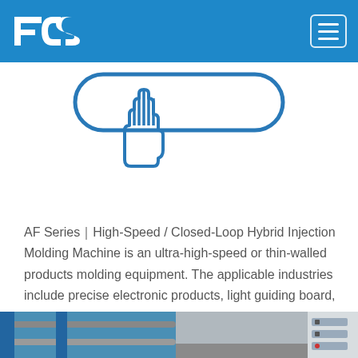FCS
[Figure (illustration): Hand cursor / click icon with rounded rectangle outline in blue line-art style, indicating an interactive element]
AF Series｜High-Speed / Closed-Loop Hybrid Injection Molding Machine is an ultra-high-speed or thin-walled products molding equipment. The applicable industries include precise electronic products, light guiding board, cable ties, etc.
[Figure (photo): Photograph of an injection molding machine showing blue-painted mechanical frame, metal tie bars, and a control panel with labeled buttons on the right side, taken inside a factory/workshop]